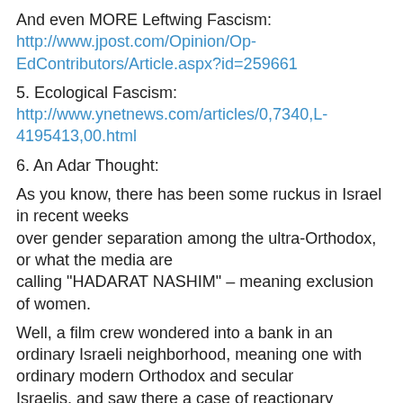And even MORE Leftwing Fascism:
http://www.jpost.com/Opinion/Op-EdContributors/Article.aspx?id=259661
5. Ecological Fascism:
http://www.ynetnews.com/articles/0,7340,L-4195413,00.html
6. An Adar Thought:
As you know, there has been some ruckus in Israel in recent weeks
over gender separation among the ultra-Orthodox, or what the media are
calling "HADARAT NASHIM" – meaning exclusion of women.
Well, a film crew wondered into a bank in an ordinary Israeli neighborhood, meaning one with ordinary modern Orthodox and secular
Israelis, and saw there a case of reactionary gender separation, with
all the men in one line and all the women in another. The crew asked
the manager how he can tolerate this HADARAT NASHIM